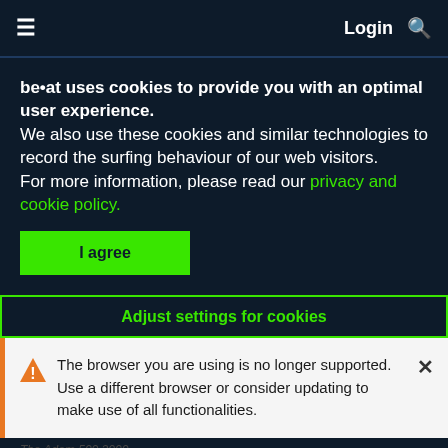≡  Login 🔍
be•at uses cookies to provide you with an optimal user experience. We also use these cookies and similar technologies to record the surfing behaviour of our web visitors. For more information, please read our privacy and cookie policy.
I agree
Adjust settings for cookies
The browser you are using is no longer supported. Use a different browser or consider updating to make use of all functionalities.